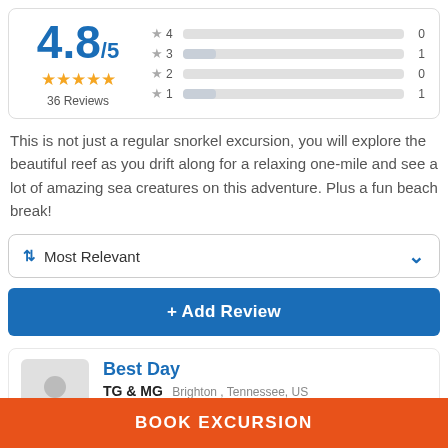[Figure (other): Rating summary box showing 4.8/5 with 5 gold stars and 36 Reviews, plus bar chart of star distribution: 4 stars=0, 3 stars=1, 2 stars=0, 1 star=1]
This is not just a regular snorkel excursion, you will explore the beautiful reef as you drift along for a relaxing one-mile and see a lot of amazing sea creatures on this adventure. Plus a fun beach break!
Most Relevant (sort dropdown)
+ Add Review
Best Day
TG & MG  Brighton , Tennessee, US
5/5  January 2022
BOOK EXCURSION